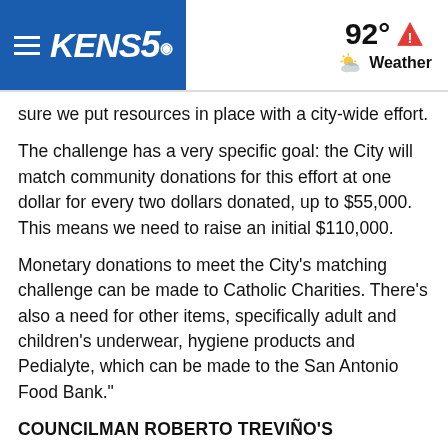KENS5 — 92° Weather
sure we put resources in place with a city-wide effort.
The challenge has a very specific goal: the City will match community donations for this effort at one dollar for every two dollars donated, up to $55,000. This means we need to raise an initial $110,000.
Monetary donations to meet the City's matching challenge can be made to Catholic Charities. There's also a need for other items, specifically adult and children's underwear, hygiene products and Pedialyte, which can be made to the San Antonio Food Bank."
COUNCILMAN ROBERTO TREVIÑO'S STATEMENT:
"Today, I had the opportunity to officially welcome students from St. Anthony Catholic School to their first City Council meeting. It was quite fitting that Coach Stringer's AP Human Geography class witnessed their City stand with the influx